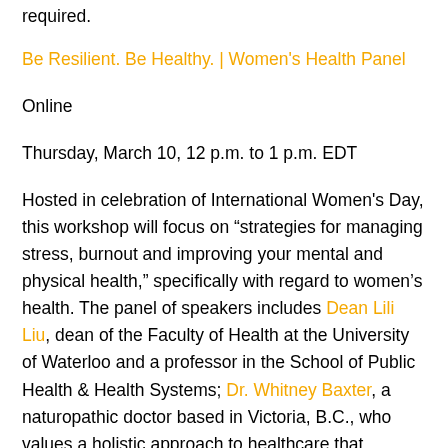required.
Be Resilient. Be Healthy. | Women's Health Panel
Online
Thursday, March 10, 12 p.m. to 1 p.m. EDT
Hosted in celebration of International Women's Day, this workshop will focus on “strategies for managing stress, burnout and improving your mental and physical health,” specifically with regard to women’s health. The panel of speakers includes Dean Lili Liu, dean of the Faculty of Health at the University of Waterloo and a professor in the School of Public Health & Health Systems; Dr. Whitney Baxter, a naturopathic doctor based in Victoria, B.C., who values a holistic approach to healthcare that prioritizes the physical,